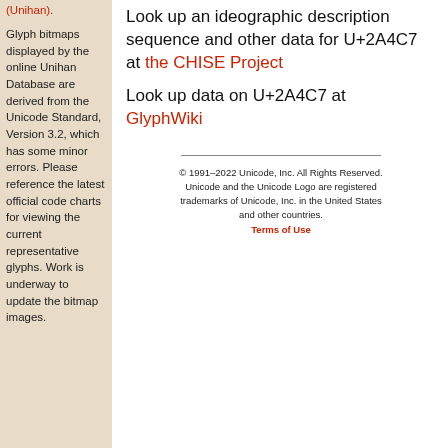(Unihan).
Glyph bitmaps displayed by the online Unihan Database are derived from the Unicode Standard, Version 3.2, which has some minor errors. Please reference the latest official code charts for viewing the current representative glyphs. Work is underway to update the bitmap images.
Look up an ideographic description sequence and other data for U+2A4C7 at the CHISE Project
Look up data on U+2A4C7 at GlyphWiki
© 1991–2022 Unicode, Inc. All Rights Reserved. Unicode and the Unicode Logo are registered trademarks of Unicode, Inc. in the United States and other countries. Terms of Use